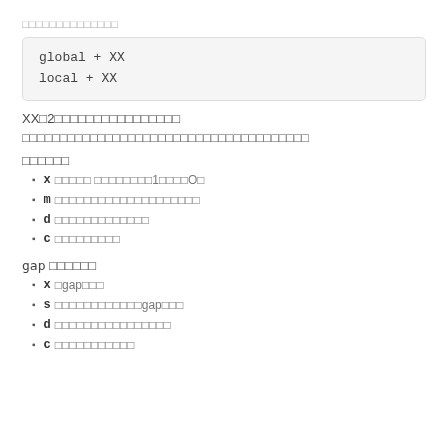□□□□□□□□□□□□□□
XX□2□□□□□□□□□□□□□□□□
□□□□□□□□□□□□□□□□□□□□□□□□□□□□□□□□□□□□
□□□□□□
x □□□□□ □□□□□□□□1□□□□O□
m □□□□□□□□□□□□□□□□□□□□
d □□□□□□□□□□□□□
c □□□□□□□□□
gap □□□□□□
x □gap□□□
s □□□□□□□□□□□□gap□□□
d □□□□□□□□□□□□□□□□
c □□□□□□□□□□□